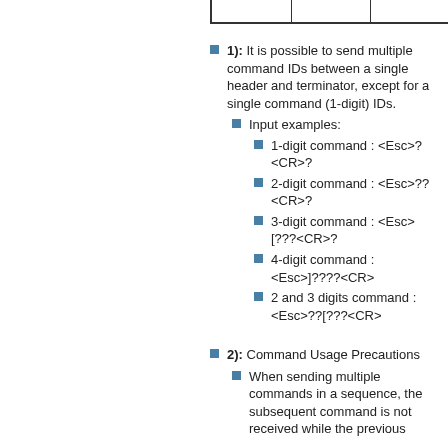1): It is possible to send multiple command IDs between a single header and terminator, except for a single command (1-digit) IDs.
Input examples:
1-digit command : <Esc>?<CR>?
2-digit command : <Esc>??<CR>?
3-digit command : <Esc>[???<CR>?
4-digit command : <Esc>]????<CR>
2 and 3 digits command : <Esc>??[???<CR>
2): Command Usage Precautions
When sending multiple commands in a sequence, the subsequent command is not received while the previous